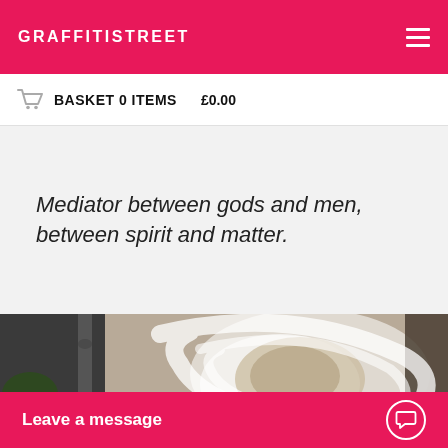GRAFFITISTREET
BASKET 0 ITEMS   £0.00
Mediator between gods and men, between spirit and matter.
[Figure (photo): Photograph of a graffiti or street art piece on a stone wall, showing a large white swirling shape. Green leafy plants and a drainpipe are visible on the left side.]
Leave a message